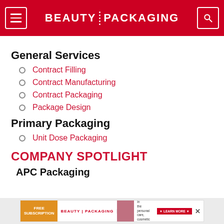BEAUTY PACKAGING
General Services
Contract Filling
Contract Manufacturing
Contract Packaging
Package Design
Primary Packaging
Unit Dose Packaging
COMPANY SPOTLIGHT
APC Packaging
[Figure (screenshot): Bottom advertisement banner for Beauty Packaging free subscription]